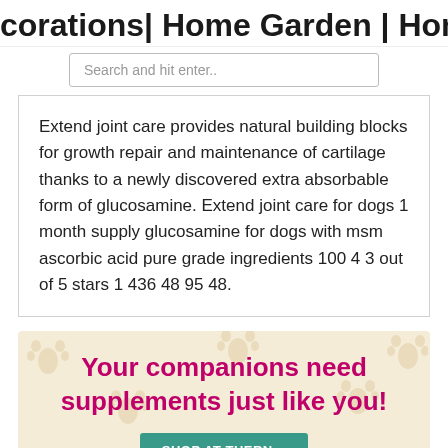corations| Home Garden | Home Far
Search and hit enter..
Extend joint care provides natural building blocks for growth repair and maintenance of cartilage thanks to a newly discovered extra absorbable form of glucosamine. Extend joint care for dogs 1 month supply glucosamine for dogs with msm ascorbic acid pure grade ingredients 100 4 3 out of 5 stars 1 436 48 95 48.
Your companions need supplements just like you!